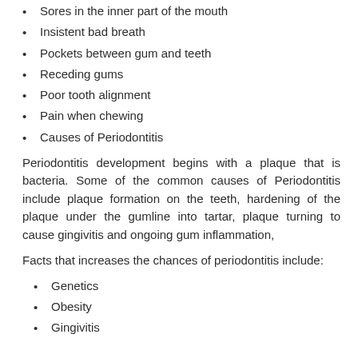Sores in the inner part of the mouth
Insistent bad breath
Pockets between gum and teeth
Receding gums
Poor tooth alignment
Pain when chewing
Causes of Periodontitis
Periodontitis development begins with a plaque that is bacteria. Some of the common causes of Periodontitis include plaque formation on the teeth, hardening of the plaque under the gumline into tartar, plaque turning to cause gingivitis and ongoing gum inflammation,
Facts that increases the chances of periodontitis include:
Genetics
Obesity
Gingivitis